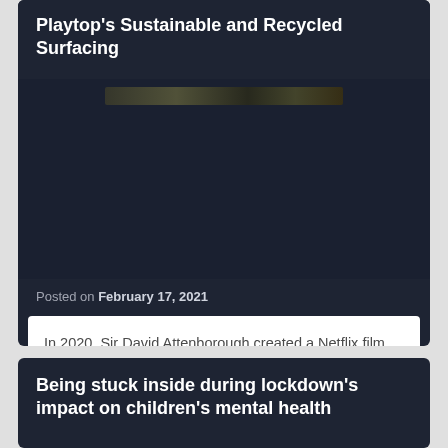Playtop's Sustainable and Recycled Surfacing
[Figure (photo): Dark thumbnail image of a landscape or outdoor surface, partially visible]
Posted on February 17, 2021
In 2020, Sir David Attenborough created a Netflix film called A Life On Our Planet which highlighted the negative impact that humans have had on planet Earth's environment. Now more than ever, it's crucial for all of us to make positive lifestyle changes. At Playtop, we believe it is important to reuse and recycle items [...]
Being stuck inside during lockdown's impact on children's mental health